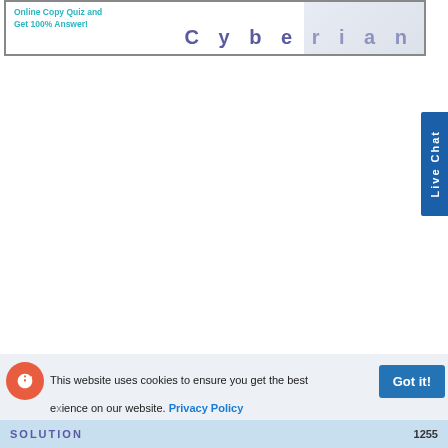[Figure (illustration): Cyberian banner advertisement with text 'Online Copy Quiz and Get 100% Answer!' and large stylized 'Cyberian' text with a photo of people in the background]
Live Chat
This website uses cookies to ensure you get the best experience on our website. Privacy Policy
Got it!
SOLUTION 1255